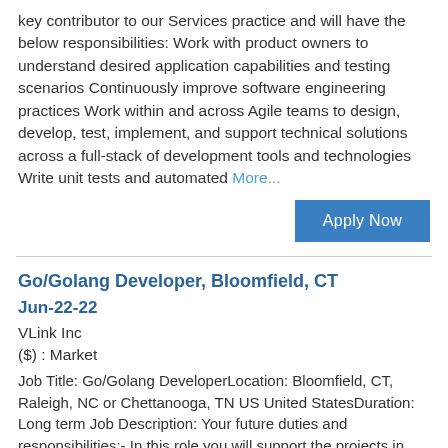key contributor to our Services practice and will have the below responsibilities: Work with product owners to understand desired application capabilities and testing scenarios Continuously improve software engineering practices Work within and across Agile teams to design, develop, test, implement, and support technical solutions across a full-stack of development tools and technologies Write unit tests and automated More...
Apply Now
Go/Golang Developer, Bloomfield, CT
Jun-22-22
VLink Inc
($) : Market
Job Title: Go/Golang DeveloperLocation: Bloomfield, CT, Raleigh, NC or Chettanooga, TN US United StatesDuration: Long term Job Description: Your future duties and responsibilities:- In this role you will support the projects in Agile/Full stack engineering